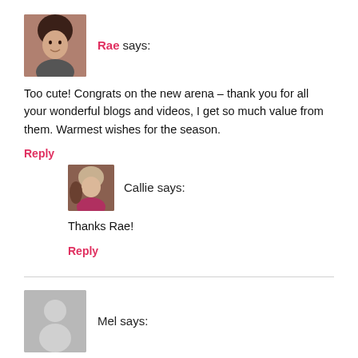[Figure (photo): Avatar photo of Rae, a woman with short dark hair]
Rae says:
Too cute! Congrats on the new arena – thank you for all your wonderful blogs and videos, I get so much value from them. Warmest wishes for the season.
Reply
[Figure (photo): Avatar photo of Callie, a woman in pink outdoors with a horse]
Callie says:
Thanks Rae!
Reply
[Figure (illustration): Generic grey silhouette avatar for Mel]
Mel says:
Gorgeous goats, all 3 of them ! Great tip to finish the year on. Gives me more food for thought.